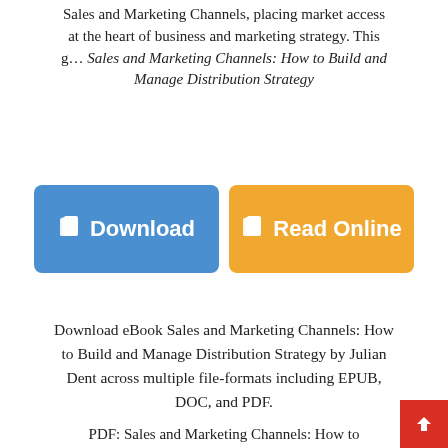Sales and Marketing Channels, placing market access at the heart of business and marketing strategy. This g... Sales and Marketing Channels: How to Build and Manage Distribution Strategy
[Figure (other): Two buttons: a blue 'Download' button and an orange 'Read Online' button, each with a book icon]
Download eBook Sales and Marketing Channels: How to Build and Manage Distribution Strategy by Julian Dent across multiple file-formats including EPUB, DOC, and PDF.
PDF: Sales and Marketing Channels: How to